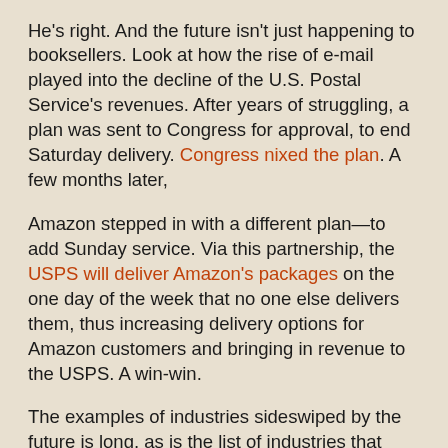He's right. And the future isn't just happening to booksellers. Look at how the rise of e-mail played into the decline of the U.S. Postal Service's revenues. After years of struggling, a plan was sent to Congress for approval, to end Saturday delivery. Congress nixed the plan. A few months later,
Amazon stepped in with a different plan—to add Sunday service. Via this partnership, the USPS will deliver Amazon's packages on the one day of the week that no one else delivers them, thus increasing delivery options for Amazon customers and bringing in revenue to the USPS. A win-win.
The examples of industries sideswiped by the future is long, as is the list of industries that have risen, offering much needed innovation and efficiency.
But . . .
It's easier to bash Bezos and Amazon than it is to look in the mirror and ask, Why didn't my publishing house lead the charge to sell books online? Why did we focus on the chains as the future when we saw the indy stores struggling to stay afloat? Why didn't we recognize the potential for the future?